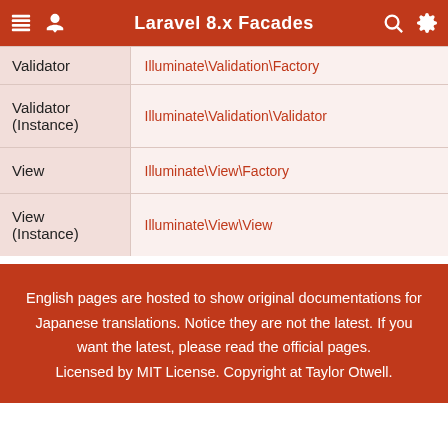Laravel 8.x Facades
| Facade | Class |
| --- | --- |
| Validator | Illuminate\Validation\Factory |
| Validator (Instance) | Illuminate\Validation\Validator |
| View | Illuminate\View\Factory |
| View (Instance) | Illuminate\View\View |
English pages are hosted to show original documentations for Japanese translations. Notice they are not the latest. If you want the latest, please read the official pages. Licensed by MIT License. Copyright at Taylor Otwell.